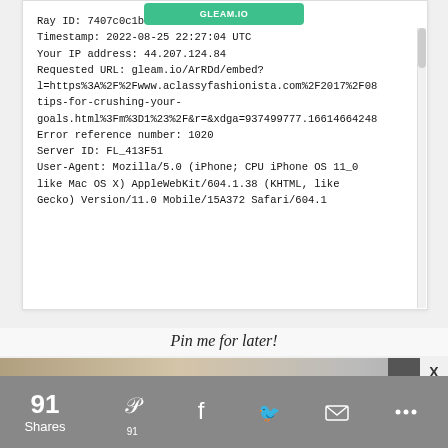Ray ID: 7407c0c1bc2a6ffd
Timestamp: 2022-08-25 22:27:04 UTC
Your IP address: 44.207.124.84
Requested URL: gleam.io/ArRDd/embed?l=https%3A%2F%2Fwww.aclassyfashionista.com%2F2017%2F08tips-for-crushing-your-goals.html%3Fm%3D1%23%2F&r=&xdga=937499777.1661466424&
Error reference number: 1020
Server ID: FL_413F51
User-Agent: Mozilla/5.0 (iPhone; CPU iPhone OS 11_0 like Mac OS X) AppleWebKit/604.1.38 (KHTML, like Gecko) Version/11.0 Mobile/15A372 Safari/604.1
Pin me for later!
[Figure (photo): Partial photo strip showing a wooden surface and a dark background area on the right]
91 Shares
[Figure (infographic): Social share bar with Pinterest (91), Facebook, Twitter, Email, and More icons]